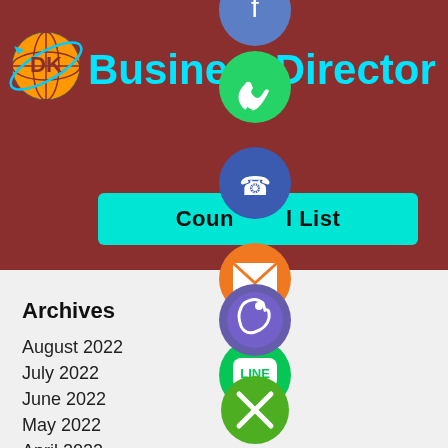[Figure (logo): DK Business Directory logo with globe icon and cyan text]
[Figure (infographic): Vertical stack of social contact icons: blue/white (top, partially visible), green WhatsApp, blue phone, orange email, green LINE, purple Viber, green close/X button]
Country List
Archives
August 2022
July 2022
June 2022
May 2022
April 2022
March 2022